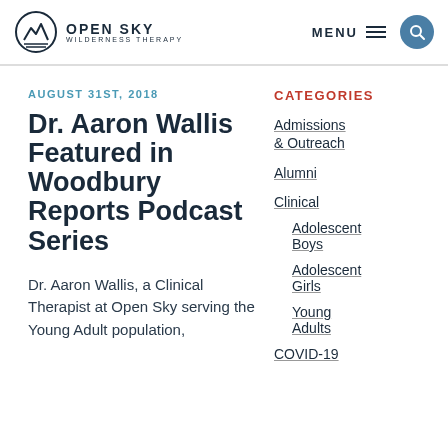OPEN SKY WILDERNESS THERAPY — MENU
AUGUST 31ST, 2018
Dr. Aaron Wallis Featured in Woodbury Reports Podcast Series
Dr. Aaron Wallis, a Clinical Therapist at Open Sky serving the Young Adult population,
CATEGORIES
Admissions & Outreach
Alumni
Clinical
Adolescent Boys
Adolescent Girls
Young Adults
COVID-19